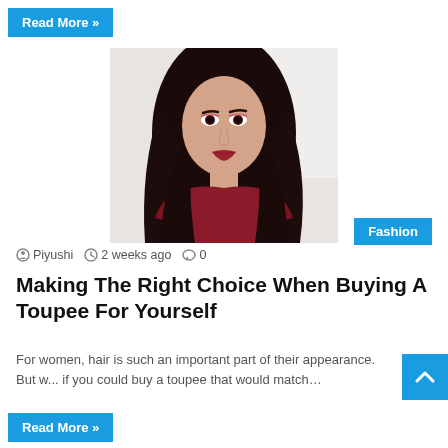Read More »
[Figure (photo): Young woman with long dark wavy hair wearing a red/burgundy top, looking at the camera, indoor setting with white door in background]
Fashion
Piyushi   2 weeks ago   0
Making The Right Choice When Buying A Toupee For Yourself
For women, hair is such an important part of their appearance. But w... if you could buy a toupee that would match…
Read More »